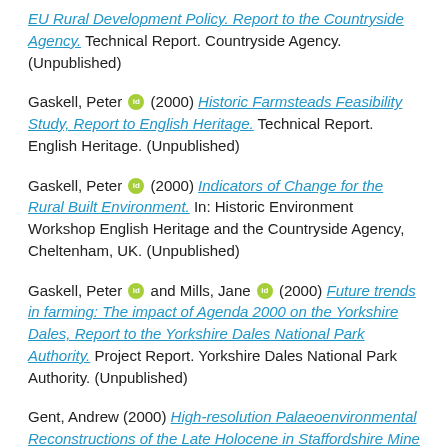EU Rural Development Policy. Report to the Countryside Agency. Technical Report. Countryside Agency. (Unpublished)
Gaskell, Peter [ORCID] (2000) Historic Farmsteads Feasibility Study, Report to English Heritage. Technical Report. English Heritage. (Unpublished)
Gaskell, Peter [ORCID] (2000) Indicators of Change for the Rural Built Environment. In: Historic Environment Workshop English Heritage and the Countryside Agency, Cheltenham, UK. (Unpublished)
Gaskell, Peter [ORCID] and Mills, Jane [ORCID] (2000) Future trends in farming: The impact of Agenda 2000 on the Yorkshire Dales, Report to the Yorkshire Dales National Park Authority. Project Report. Yorkshire Dales National Park Authority. (Unpublished)
Gent, Andrew (2000) High-resolution Palaeoenvironmental Reconstructions of the Late Holocene in Staffordshire Mine from West...